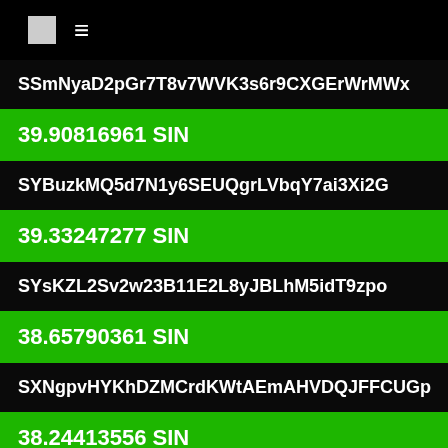[icon] ≡
SSmNyaD2pGr7T8v7WVK3s6r9CXGErWrMWx
39.90816961 SIN
SYBuzkMQ5d7N1y6SEUQgrLVbqY7ai3Xi2G
39.33247277 SIN
SYsKZL2Sv2w23B11E2L8yJBLhM5idT9zpo
38.65790361 SIN
SXNgpvHYKhDZMCrdKWtAEmAHVDQJFFCUGp
38.24413556 SIN
SXxEVc9WiNSMjmGMDJGzuTQ5VRm9iMhr19
38.23304525 SIN